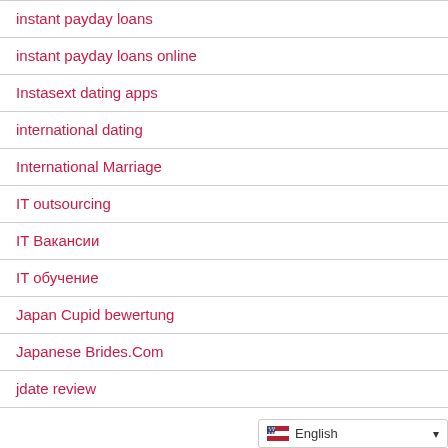instant payday loans
instant payday loans online
Instasext dating apps
international dating
International Marriage
IT outsourcing
IT Вакансии
IT обучение
Japan Cupid bewertung
Japanese Brides.Com
jdate review